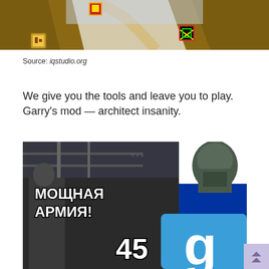[Figure (screenshot): Top portion of a video game screenshot showing a desert canyon racing track with colorful item boxes and character icons visible.]
Source: iqstudio.org
We give you the tools and leave you to play. Garry's mod — architect insanity.
[Figure (screenshot): Garry's Mod promotional meme image showing soldiers with Cyrillic text 'МОЩНАЯ АРМИЯ!' (Powerful Army!) with the number 45 and the Garry's Mod 'g' logo.]